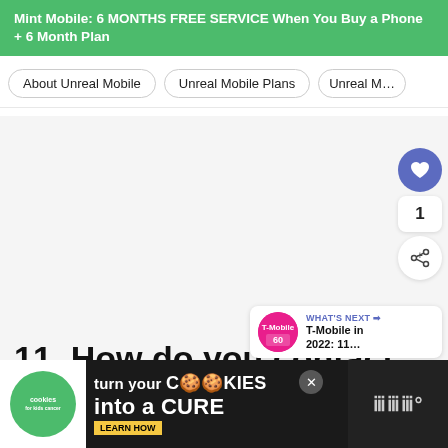Mint Mobile: 6 MONTHS FREE SERVICE When You Buy a Phone + 6 Month Plan
About Unreal Mobile
Unreal Mobile Plans
Unreal M…
[Figure (screenshot): Social interaction buttons: heart/like button (blue circle with white heart), count of 1, and share button]
[Figure (screenshot): What's Next card showing T-Mobile thumbnail and text: WHAT'S NEXT → T-Mobile in 2022: 11...]
11. How do you contact Unreal Mobile customer s…
[Figure (screenshot): Advertisement banner: cookies for kids cancer - turn your COOKIES into a CURE LEARN HOW]